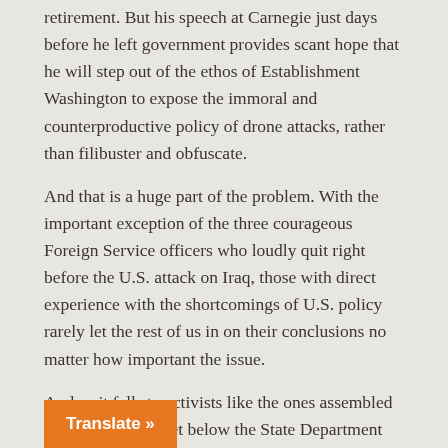retirement. But his speech at Carnegie just days before he left government provides scant hope that he will step out of the ethos of Establishment Washington to expose the immoral and counterproductive policy of drone attacks, rather than filibuster and obfuscate.
And that is a huge part of the problem. With the important exception of the three courageous Foreign Service officers who loudly quit right before the U.S. attack on Iraq, those with direct experience with the shortcomings of U.S. policy rarely let the rest of us in on their conclusions no matter how important the issue.
And so it falls to activists like the ones assembled by Code Pink to get below the State Department talking points and, unfettered by career or end-of-career inhibitions, give us honest answers to questions on key issues like the drones. Let's hope against hope that their findings get appropriate play in U.S. media.
Ray McGovern works with Tell the Word, a publishing arm of the ecumenical Church of the Saviour in inner-city Washington. He served as an Army and then CIA intelligence analyst and is a member of Veteran Intelligence Professionals for Sanity